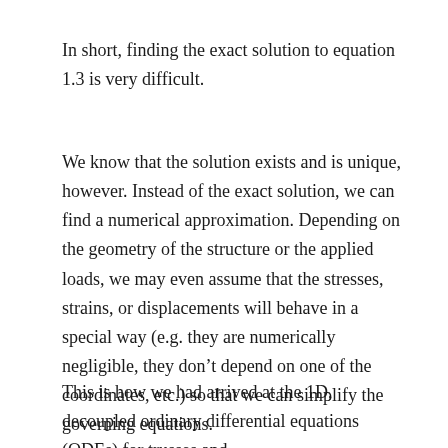In short, finding the exact solution to equation 1.3 is very difficult.
We know that the solution exists and is unique, however. Instead of the exact solution, we can find a numerical approximation. Depending on the geometry of the structure or the applied loads, we may even assume that the stresses, strains, or displacements will behave in a special way (e.g. they are numerically negligible, they don’t depend on one of the coordinates, etc.) so that we can simplify the governing equations.
This is how we had arrived at the 1D, decoupled ordinary differential equations (ODEs) for trusses and